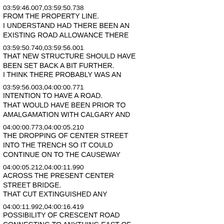03:59:46.007,03:59:50.738
FROM THE PROPERTY LINE.
I UNDERSTAND HAD THERE BEEN AN
EXISTING ROAD ALLOWANCE THERE
03:59:50.740,03:59:56.001
THAT NEW STRUCTURE SHOULD HAVE
BEEN SET BACK A BIT FURTHER.
I THINK THERE PROBABLY WAS AN
03:59:56.003,04:00:00.771
INTENTION TO HAVE A ROAD.
THAT WOULD HAVE BEEN PRIOR TO
AMALGAMATION WITH CALGARY AND
04:00:00.773,04:00:05.210
THE DROPPING OF CENTER STREET
INTO THE TRENCH SO IT COULD
CONTINUE ON TO THE CAUSEWAY
04:00:05.212,04:00:11.990
ACROSS THE PRESENT CENTER
STREET BRIDGE.
THAT CUT EXTINGUISHED ANY
04:00:11.992,04:00:16.419
POSSIBILITY OF CRESCENT ROAD
CONNECTING TO ANYTHING EAST OF
CENTRE A STREET.